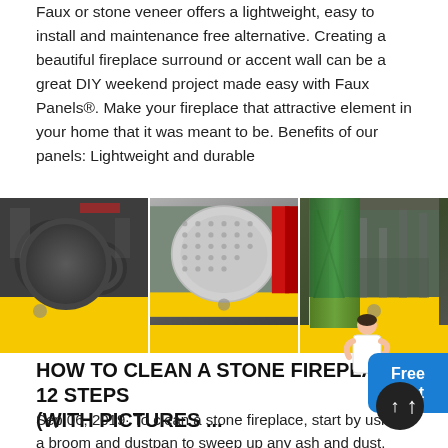Faux or stone veneer offers a lightweight, easy to install and maintenance free alternative. Creating a beautiful fireplace surround or accent wall can be a great DIY weekend project made easy with Faux Panels®. Make your fireplace that attractive element in your home that it was meant to be. Benefits of our panels: Lightweight and durable
[Figure (photo): Three side-by-side industrial/manufacturing facility photos with yellow banners at the bottom. Left panel shows large circular industrial drums/parts in a factory. Middle panel shows a large cylindrical vessel with a red stripe and dotted pattern. Right panel shows a conveyor or industrial equipment with green structure.]
HOW TO CLEAN A STONE FIREPLACE: 12 STEPS (WITH PICTURES ...
Sep 06, 2019· To clean a stone fireplace, start by using a broom and dustpan to sweep up any ash and dust. Next, spray the fireplace with water and wash it with an all purpose cleaner and sponge.